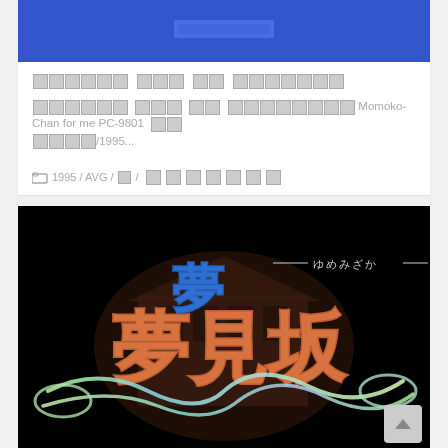[Figure (screenshot): Blue background game screenshot or cover image at the top of first card]
██████ ███ ██ ███████
███████ ███ ██ ████████ Momoko-Chan for me PC-9801 ██ ████/1995...
1995 / AVG / □ / ███████
[Figure (screenshot): Black background game title screen showing 夢見坂 (Yumemizaka) in decorative Japanese calligraphy with blue kanji above and a flowing rainbow cursive script below, over a pixel-art building background]